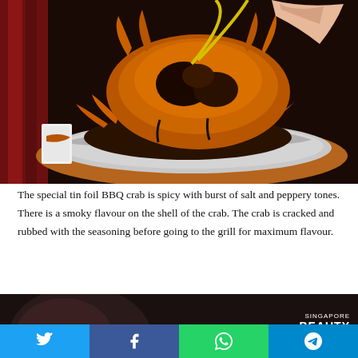[Figure (photo): A BBQ crab in tin foil on a wooden board, being held up with yellow tongs by a hand. The crab is stacked atop the foil-wrapped crab pieces with green vegetables and sauce visible underneath. Dark background with red curtain.]
The special tin foil BBQ crab is spicy with burst of salt and peppery tones. There is a smoky flavour on the shell of the crab. The crab is cracked and rubbed with the seasoning before going to the grill for maximum flavour.
[Figure (photo): A partially visible food photo with Singapore Beauty watermark text in the bottom right corner on a dark background.]
Social share bar with Twitter, Facebook, WhatsApp, and Telegram buttons